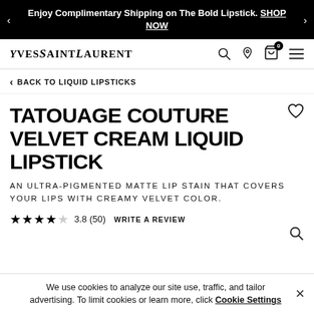Enjoy Complimentary Shipping on The Bold Lipstick. SHOP NOW
[Figure (logo): YvesSaintLaurent logo text]
BACK TO LIQUID LIPSTICKS
TATOUAGE COUTURE VELVET CREAM LIQUID LIPSTICK
AN ULTRA-PIGMENTED MATTE LIP STAIN THAT COVERS YOUR LIPS WITH CREAMY VELVET COLOR.
3.8 (50)   WRITE A REVIEW
We use cookies to analyze our site use, traffic, and tailor advertising. To limit cookies or learn more, click Cookie Settings